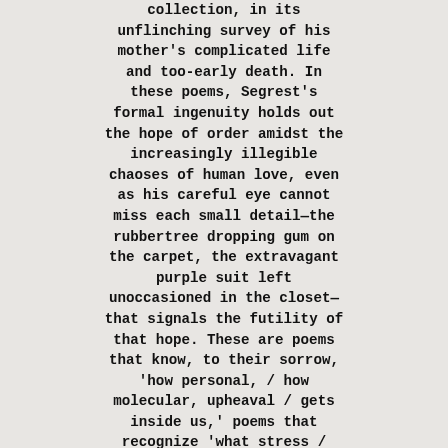collection, in its unflinching survey of his mother's complicated life and too-early death. In these poems, Segrest's formal ingenuity holds out the hope of order amidst the increasingly illegible chaoses of human love, even as his careful eye cannot miss each small detail—the rubbertree dropping gum on the carpet, the extravagant purple suit left unoccasioned in the closet—that signals the futility of that hope. These are poems that know, to their sorrow, 'how personal, / how molecular, upheaval / gets inside us,' poems that recognize 'what stress /